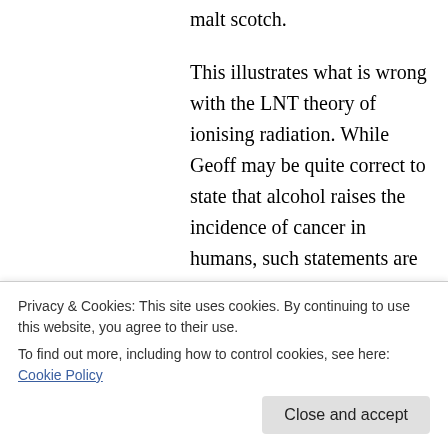malt scotch.
This illustrates what is wrong with the LNT theory of ionising radiation. While Geoff may be quite correct to state that alcohol raises the incidence of cancer in humans, such statements are misleading if one ignores the beneficial effects of alcohol.
There is ample evidence to suggest that moderate consumption of alcohol has benefits in relation to the incidence of heart disease that
Privacy & Cookies: This site uses cookies. By continuing to use this website, you agree to their use.
To find out more, including how to control cookies, see here: Cookie Policy